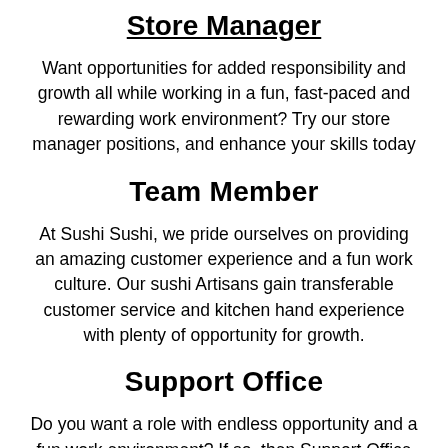Store Manager
Want opportunities for added responsibility and growth all while working in a fun, fast-paced and rewarding work environment? Try our store manager positions, and enhance your skills today
Team Member
At Sushi Sushi, we pride ourselves on providing an amazing customer experience and a fun work culture. Our sushi Artisans gain transferable customer service and kitchen hand experience with plenty of opportunity for growth.
Support Office
Do you want a role with endless opportunity and a fun work environment? If so, then Support Office positions are for you. The team are passionate about